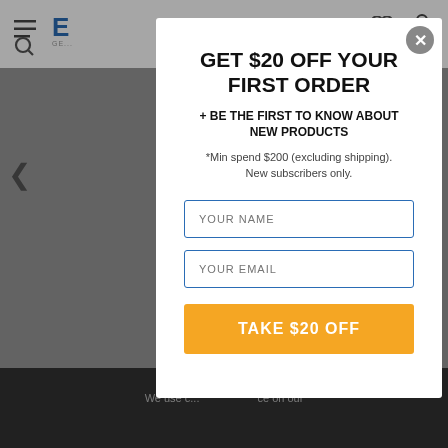E... GE... (nav bar with logo, search, bag icons)
GET $20 OFF YOUR FIRST ORDER
+ BE THE FIRST TO KNOW ABOUT NEW PRODUCTS
*Min spend $200 (excluding shipping). New subscribers only.
YOUR NAME (input field placeholder)
YOUR EMAIL (input field placeholder)
TAKE $20 OFF (button)
We use c... ce on our